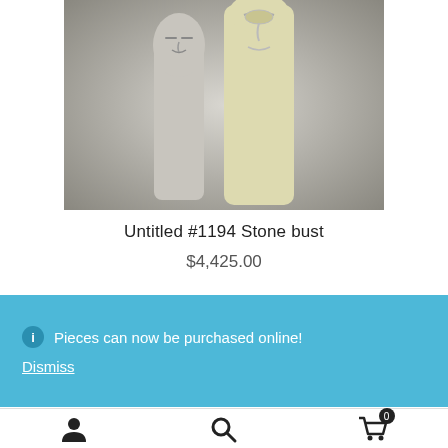[Figure (photo): Two stone bust sculptures with abstract face carvings on a gray background. The left sculpture is smaller, the right is taller and lighter colored.]
Untitled #1194 Stone bust
$4,425.00
ⓘ Pieces can now be purchased online!
Dismiss